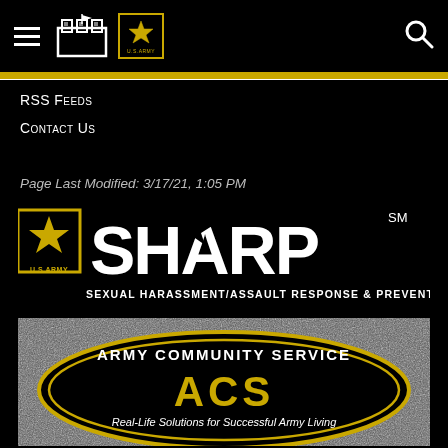[Figure (screenshot): Top navigation bar with hamburger menu, fort/castle icon, U.S. Army star logo, and search icon on black background]
RSS Feeds
Contact Us
Page Last Modified: 3/17/21, 1:05 PM
[Figure (logo): U.S. Army SHARP (Sexual Harassment/Assault Response & Prevention) logo with Army star emblem on black background]
[Figure (logo): Army Community Service ACS logo — oval emblem with text 'Army Community Service', 'ACS', and 'Real-Life Solutions for Successful Army Living' on grainy/noisy background]